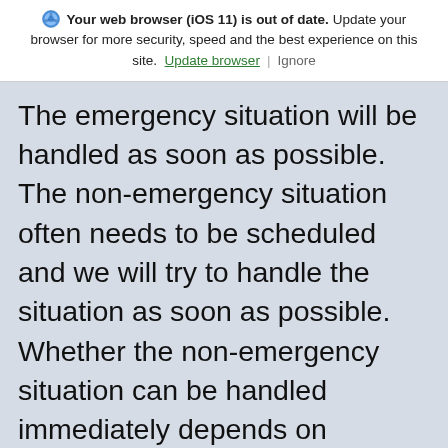Your web browser (iOS 11) is out of date. Update your browser for more security, speed and the best experience on this site. Update browser | Ignore
The emergency situation will be handled as soon as possible. The non-emergency situation often needs to be scheduled and we will try to handle the situation as soon as possible. Whether the non-emergency situation can be handled immediately depends on available crews and whether the call is received during their busiest right-of-way season, which is generally in the spring until late summer. To report a non-emergency situation, please call LEC at 800-942-3141 or send an e-mail.